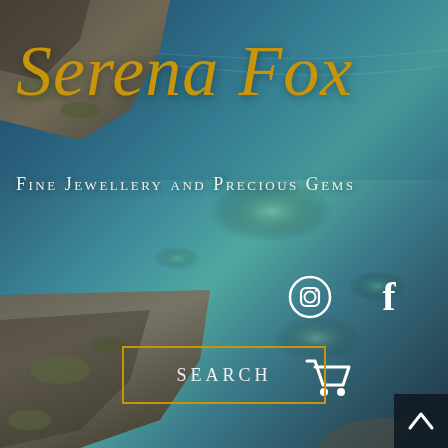[Figure (photo): Background photo of clear blue-green water over rocks/coral, with stone rocks visible in the lower left corner. Serves as full-page background for a jewellery brand website screenshot.]
Serena Fox
Fine Jewellery and Precious Gems
[Figure (illustration): Instagram icon (circle with camera outline) in white]
[Figure (illustration): Facebook icon (letter f) in white]
[Figure (illustration): Shopping cart icon in white]
[Figure (illustration): Scroll-to-top button (caret/chevron up) on dark background]
SEARCH